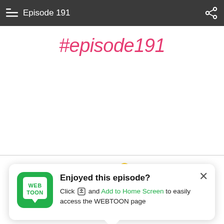Episode 191
#episode191
[Figure (illustration): WiFi signal icon with a yellow exclamation mark warning indicator, displayed in green color]
[Figure (illustration): WEBTOON app logo: green rounded square with white speech bubble containing 'WEB TOON' text]
Enjoyed this episode? Click [share icon] and Add to Home Screen to easily access the WEBTOON page